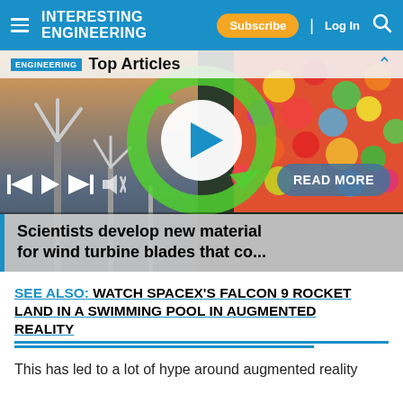INTERESTING ENGINEERING | Subscribe | Log In
[Figure (screenshot): Video player carousel showing wind turbines on the left, green recycling arrows in center, colorful gummy candies on right, with a white play button circle in the center. Controls bar at bottom with skip back, play, skip forward, and mute icons. 'Top Articles' label bar at top. 'READ MORE' button on right side. Article title overlay: 'Scientists develop new material for wind turbine blades that co...']
SEE ALSO: WATCH SPACEX'S FALCON 9 ROCKET LAND IN A SWIMMING POOL IN AUGMENTED REALITY
This has led to a lot of hype around augmented reality